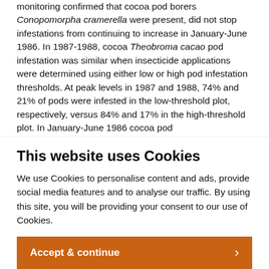monitoring confirmed that cocoa pod borers Conopomorpha cramerella were present, did not stop infestations from continuing to increase in January-June 1986. In 1987-1988, cocoa Theobroma cacao pod infestation was similar when insecticide applications were determined using either low or high pod infestation thresholds. At peak levels in 1987 and 1988, 74% and 21% of pods were infested in the low-threshold plot, respectively, versus 84% and 17% in the high-threshold plot. In January-June 1986 cocoa pod
This website uses Cookies
We use Cookies to personalise content and ads, provide social media features and to analyse our traffic. By using this site, you will be providing your consent to our use of Cookies.
Accept & continue